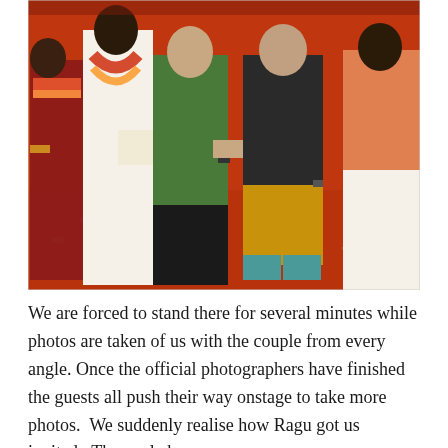[Figure (photo): A group photo at a South Indian wedding. Two Western men (one in green shirt and dark pants, one in dark shirt and yellow/mustard pants with teal shoes) stand with a bride and groom (groom in white dhoti, bride in red saree with floral garlands and gold jewelry) and another man in an orange shirt with white dhoti. The floor is covered in a red carpet with flower petals. The groom appears to be receiving a gift/envelope from the men.]
We are forced to stand there for several minutes while photos are taken of us with the couple from every angle. Once the official photographers have finished the guests all push their way onstage to take more photos. We suddenly realise how Ragu got us invited. The uncle has